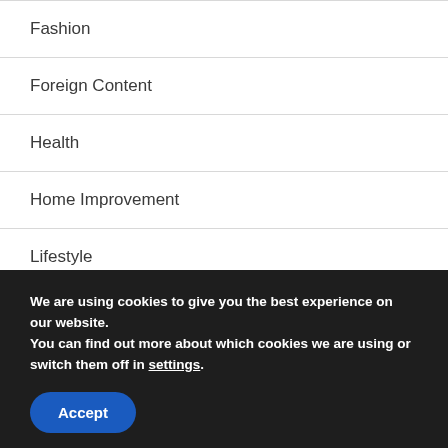Fashion
Foreign Content
Health
Home Improvement
Lifestyle
Reviews
Shopping
We are using cookies to give you the best experience on our website.
You can find out more about which cookies we are using or switch them off in settings.
Accept